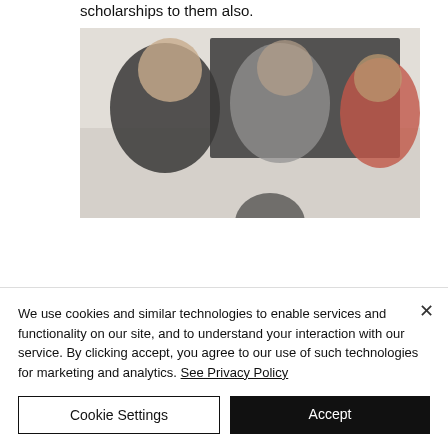scholarships to them also.
[Figure (photo): Blurred photo of people in a meeting or educational setting, with individuals seated around a table and a dark background panel behind them.]
We use cookies and similar technologies to enable services and functionality on our site, and to understand your interaction with our service. By clicking accept, you agree to our use of such technologies for marketing and analytics. See Privacy Policy